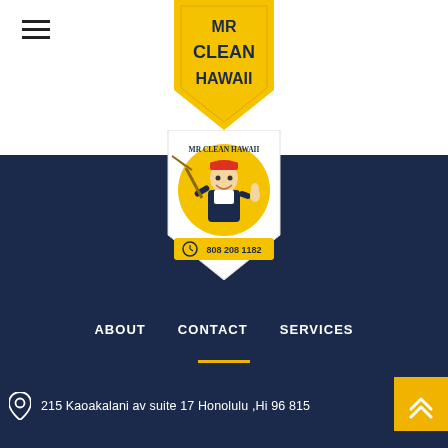[Figure (logo): MR CLEAN HAWAII shield logo at top, yellow shield with dark blue bold text]
[Figure (logo): MR CLEAN HAWAII circular mascot logo in footer area, character with broom and thumbs up, phone number 808 208 1162]
ABOUT  CONTACT  SERVICES
215 Kaoakalani av suite 17 Honolulu ,Hi 96815